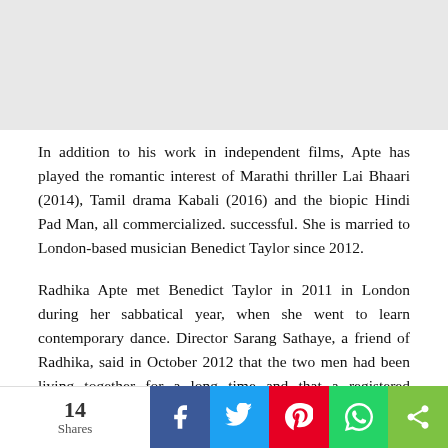[Figure (other): Gray banner/advertisement area at top of page]
In addition to his work in independent films, Apte has played the romantic interest of Marathi thriller Lai Bhaari (2014), Tamil drama Kabali (2016) and the biopic Hindi Pad Man, all commercialized. successful. She is married to London-based musician Benedict Taylor since 2012.
Radhika Apte met Benedict Taylor in 2011 in London during her sabbatical year, when she went to learn contemporary dance. Director Sarang Sathaye, a friend of Radhika, said in October 2012 that the two men had been living together for a long time and that a registered marriage had taken place one month before the official ceremony in March 2013.
14 Shares | Facebook | Twitter | Pinterest | WhatsApp | Share